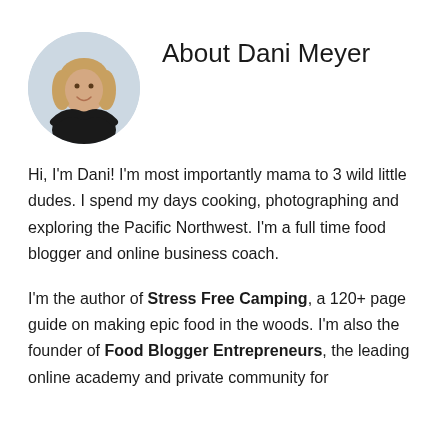[Figure (photo): Circular portrait photo of Dani Meyer, a woman with long wavy hair wearing a black top with arms crossed, smiling, against a light background.]
About Dani Meyer
Hi, I'm Dani! I'm most importantly mama to 3 wild little dudes. I spend my days cooking, photographing and exploring the Pacific Northwest. I'm a full time food blogger and online business coach.
I'm the author of Stress Free Camping, a 120+ page guide on making epic food in the woods. I'm also the founder of Food Blogger Entrepreneurs, the leading online academy and private community for